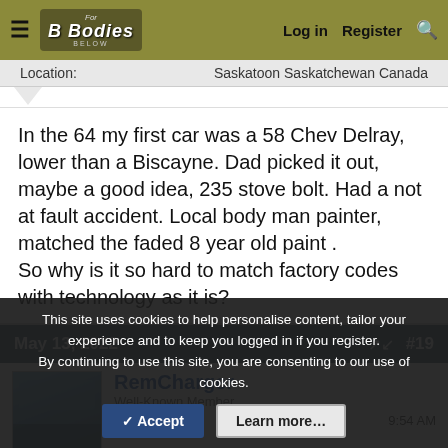B Bodies Below: Log in | Register | Search
Location:	Saskatoon Saskatchewan Canada
In the 64 my first car was a 58 Chev Delray, lower than a Biscayne. Dad picked it out, maybe a good idea, 235 stove bolt. Had a not at fault accident. Local body man painter, matched the faded 8 year old paint .
So why is it so hard to match factory codes with technology as it is?
May 13, 2022	#19
RemCharger
Well-Known Member
Local time:	9:54 AM
This site uses cookies to help personalise content, tailor your experience and to keep you logged in if you register.
By continuing to use this site, you are consenting to our use of cookies.